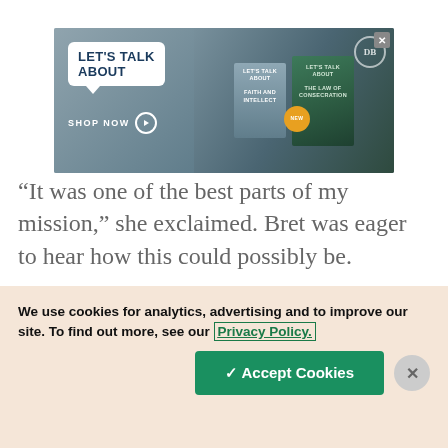[Figure (illustration): Advertisement banner for 'Let's Talk About' book series by DB publisher, showing two books: 'Faith and Intellect' and 'The Law of Consecration' with a NEW badge, speech bubble with text 'LET'S TALK ABOUT' and 'SHOP NOW' button]
“It was one of the best parts of my mission,” she exclaimed. Bret was eager to hear how this could possibly be.
“Throughout my whole mission, I have been praying for patience. I struggled and struggled
We use cookies for analytics, advertising and to improve our site. To find out more, see our Privacy Policy.
✓ Accept Cookies